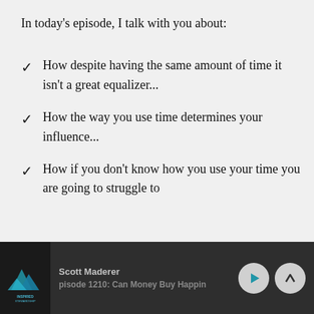In today's episode, I talk with you about:
How despite having the same amount of time it isn't a great equalizer...
How the way you use time determines your influence...
How if you don't know how you use your time you are going to struggle to
Scott Maderer | pisode 1210: Can Money Buy Happin